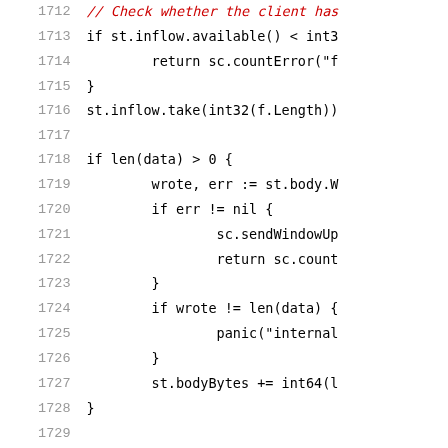Code listing lines 1712-1733, source code in Go language showing flow control and body reading logic